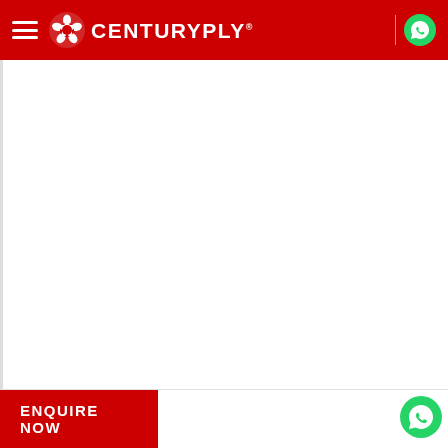CENTURYPLY
[Figure (logo): CenturyPly logo with star icon and brand name in white on red navbar]
ENQUIRE NOW